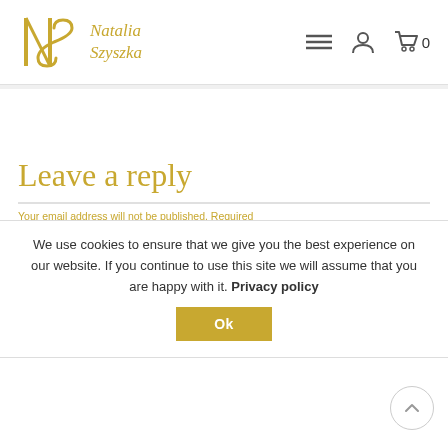Natalia Szyszka — website header with logo, menu icon, user icon, and cart (0)
Leave a reply
Your email address will not be published. Required fields are marked *
We use cookies to ensure that we give you the best experience on our website. If you continue to use this site we will assume that you are happy with it. Privacy policy
Ok